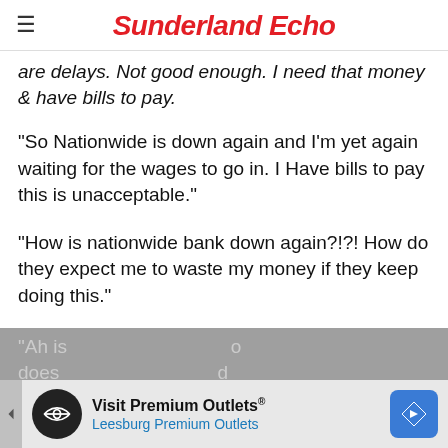Sunderland Echo
are delays. Not good enough. I need that money & have bills to pay.
"So Nationwide is down again and I'm yet again waiting for the wages to go in. I Have bills to pay this is unacceptable."
"How is nationwide bank down again?!?! How do they expect me to waste my money if they keep doing this."
"Ah is... does...
[Figure (other): Advertisement banner for Visit Premium Outlets - Leesburg Premium Outlets]